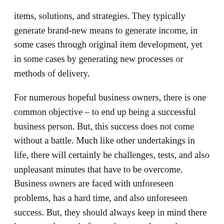items, solutions, and strategies. They typically generate brand-new means to generate income, in some cases through original item development, yet in some cases by generating new processes or methods of delivery.
For numerous hopeful business owners, there is one common objective – to end up being a successful business person. But, this success does not come without a battle. Much like other undertakings in life, there will certainly be challenges, tests, and also unpleasant minutes that have to be overcome. Business owners are faced with unforeseen problems, has a hard time, and also unforeseen success. But, they should always keep in mind there is constantly a pain factor they can always draw on, much like there is a point at which a failing ends up being an opportunity to learn. info
Business owners need to consider themselves lucky and